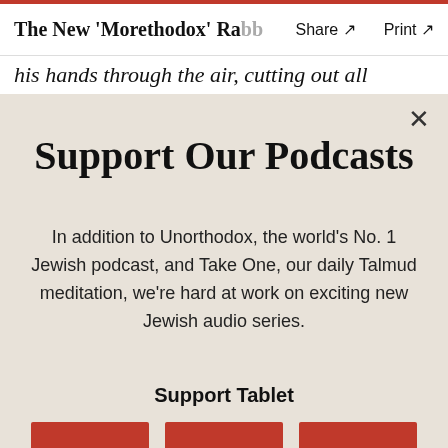The New 'Morethodox' Rabb  Share ↗  Print ↗
his hands through the air, cutting out all
Support Our Podcasts
In addition to Unorthodox, the world's No. 1 Jewish podcast, and Take One, our daily Talmud meditation, we're hard at work on exciting new Jewish audio series.
Support Tablet
$36  $50  $75